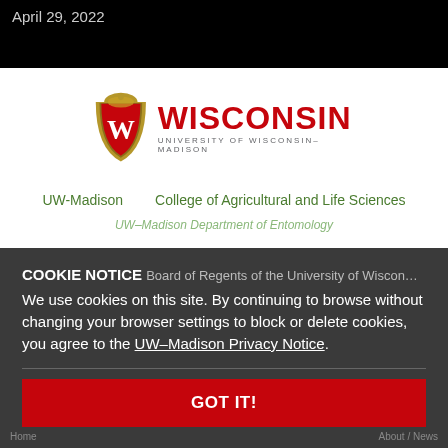April 29, 2022
[Figure (logo): University of Wisconsin-Madison logo with W shield and WISCONSIN UNIVERSITY OF WISCONSIN-MADISON wordmark]
UW-Madison   College of Agricultural and Life Sciences
UW-Madison Department of Entomology
Board of Regents of the University of Wisconsin
COOKIE NOTICE
We use cookies on this site. By continuing to browse without changing your browser settings to block or delete cookies, you agree to the UW–Madison Privacy Notice.
GOT IT!